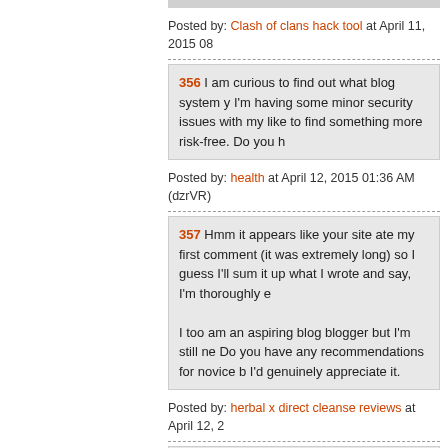Posted by: Clash of clans hack tool at April 11, 2015 08
356 I am curious to find out what blog system y I'm having some minor security issues with my like to find something more risk-free. Do you h
Posted by: health at April 12, 2015 01:36 AM (dzrVR)
357 Hmm it appears like your site ate my first comment (it was extremely long) so I guess I'll sum it up what I wrote and say, I'm thoroughly e

I too am an aspiring blog blogger but I'm still ne Do you have any recommendations for novice b I'd genuinely appreciate it.
Posted by: herbal x direct cleanse reviews at April 12, 2
358 Lastly, it is important to take time to shop a in order to get the best result without spending t

Accidental damage might seem like a natural pa of shop insurance, however, so it is important to will give protection not only